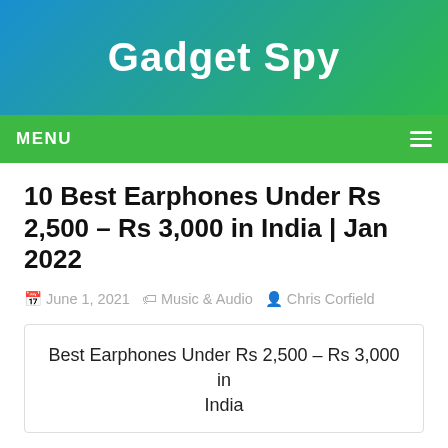Gadget Spy
MENU
10 Best Earphones Under Rs 2,500 – Rs 3,000 in India | Jan 2022
June 1, 2021   Music & Audio   Chris Corfield
Best Earphones Under Rs 2,500 – Rs 3,000 in India
Which is the best earphone under 3000? Which is the best earphone under 2500?